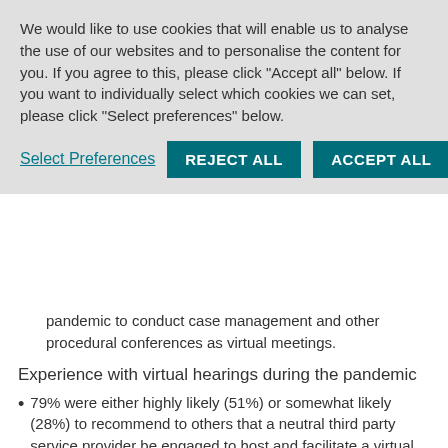We would like to use cookies that will enable us to analyse the use of our websites and to personalise the content for you. If you agree to this, please click "Accept all" below. If you want to individually select which cookies we can set, please click "Select preferences" below.
Select Preferences | REJECT ALL | ACCEPT ALL
pandemic to conduct case management and other procedural conferences as virtual meetings.
Experience with virtual hearings during the pandemic
79% were either highly likely (51%) or somewhat likely (28%) to recommend to others that a neutral third party service provider be engaged to host and facilitate a virtual hearing, as opposed to the hearing being hosted by an arbitrator or tribunal